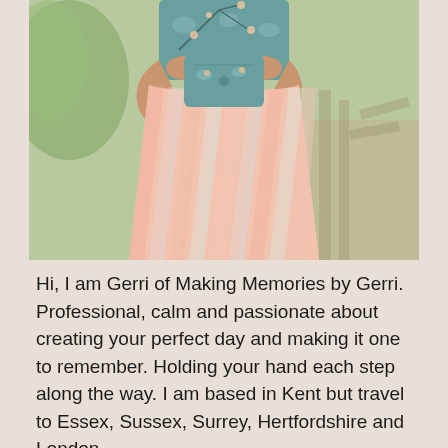[Figure (photo): A person wearing a colorful pastel striped skirt and a teal floral top/jacket, holding the jacket open with both hands, photographed from the chest down in an outdoor setting.]
Hi, I am Gerri of Making Memories by Gerri. Professional, calm and passionate about creating your perfect day and making it one to remember. Holding your hand each step along the way. I am based in Kent but travel to Essex, Sussex, Surrey, Hertfordshire and London